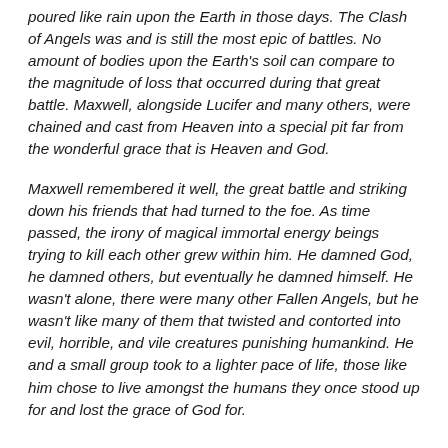poured like rain upon the Earth in those days. The Clash of Angels was and is still the most epic of battles. No amount of bodies upon the Earth's soil can compare to the magnitude of loss that occurred during that great battle. Maxwell, alongside Lucifer and many others, were chained and cast from Heaven into a special pit far from the wonderful grace that is Heaven and God.
Maxwell remembered it well, the great battle and striking down his friends that had turned to the foe. As time passed, the irony of magical immortal energy beings trying to kill each other grew within him. He damned God, he damned others, but eventually he damned himself. He wasn't alone, there were many other Fallen Angels, but he wasn't like many of them that twisted and contorted into evil, horrible, and vile creatures punishing humankind. He and a small group took to a lighter pace of life, those like him chose to live amongst the humans they once stood up for and lost the grace of God for.